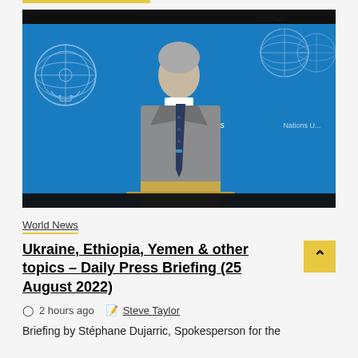[Figure (screenshot): Video screenshot of a UN press briefing. A man in a gray suit with a dark patterned tie stands at a podium. The background is a blue UN backdrop with United Nations emblems/logos visible on both sides.]
World News
Ukraine, Ethiopia, Yemen & other topics – Daily Press Briefing (25 August 2022)
2 hours ago  Steve Taylor
Briefing by Stéphane Dujarric, Spokesperson for the